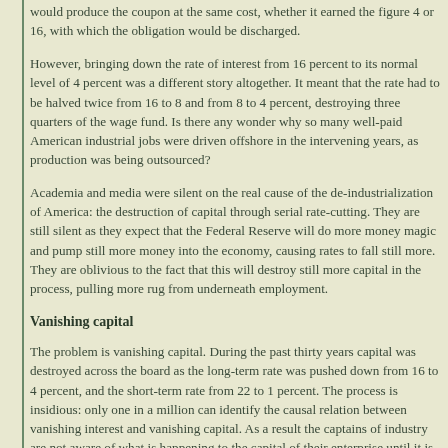would produce the coupon at the same cost, whether it earned the figure 4 or 16, with which the obligation would be discharged.
However, bringing down the rate of interest from 16 percent to its normal level of 4 percent was a different story altogether. It meant that the rate had to be halved twice from 16 to 8 and from 8 to 4 percent, destroying three quarters of the wage fund. Is there any wonder why so many well-paid American industrial jobs were driven offshore in the intervening years, as production was being outsourced?
Academia and media were silent on the real cause of the de-industrialization of America: the destruction of capital through serial rate-cutting. They are still silent as they expect that the Federal Reserve will do more money magic and pump still more money into the economy, causing rates to fall still more. They are oblivious to the fact that this will destroy still more capital in the process, pulling more rug from underneath employment.
Vanishing capital
The problem is vanishing capital. During the past thirty years capital was destroyed across the board as the long-term rate was pushed down from 16 to 4 percent, and the short-term rate from 22 to 1 percent. The process is insidious: only one in a million can identify the causal relation between vanishing interest and vanishing capital. As a result the captains of industry are not aware of what is happening to the capital of their enterprise until it is too late and they